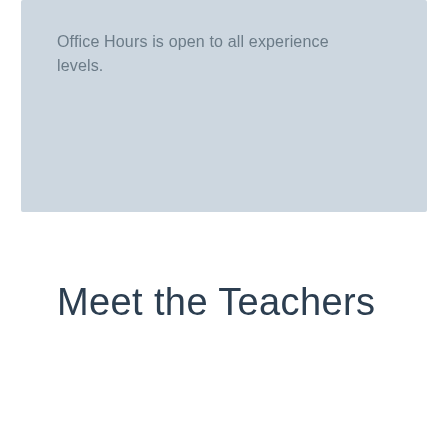Office Hours is open to all experience levels.
Meet the Teachers